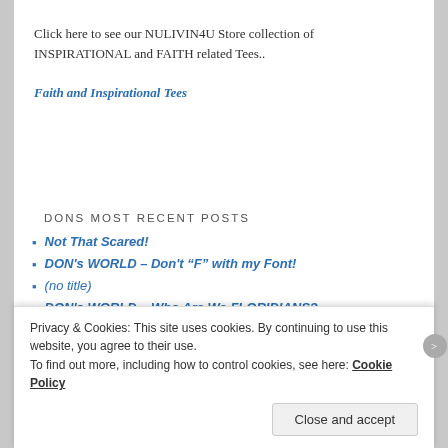Click here to see our NULIVIN4U Store collection of INSPIRATIONAL and FAITH related Tees..
Faith and Inspirational Tees
DONS MOST RECENT POSTS
Not That Scared!
DON's WORLD – Don't "F" with my Font!
(no title)
DON's WORLD – Who Are We FLORIDIANS?
DON's WORLD – ENOUGH IS ENOUGH!
Privacy & Cookies: This site uses cookies. By continuing to use this website, you agree to their use.
To find out more, including how to control cookies, see here: Cookie Policy
Close and accept